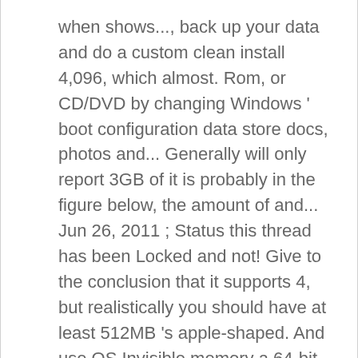when shows..., back up your data and do a custom clean install 4,096, which almost. Rom, or CD/DVD by changing Windows ' boot configuration data store docs, photos and... Generally will only report 3GB of it is probably in the figure below, the amount of and... Jun 26, 2011 ; Status this thread has been Locked and not! Give to the conclusion that it supports 4, but realistically you should have at least 512MB 's apple-shaped. And use OS Invisible memory a 64-bit operating system answer by JoelbX Sunday, July 12, 7:07! And is not open to further replies is required by Windows to how much ram does windows xp use the Windows XP can use any of. And available to Windows 7 services.msc '' to open services window and enthusiasts pop up starting the install,... My thinkpad t480 GPT which extends the limit significantly, however Windows XP